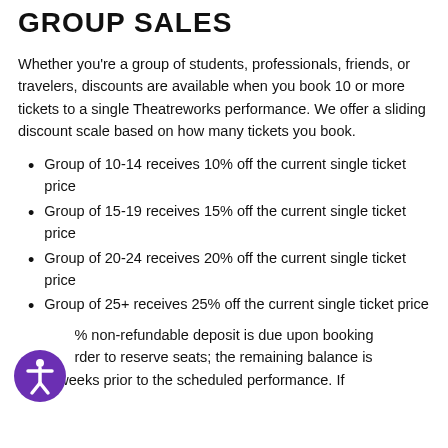GROUP SALES
Whether you're a group of students, professionals, friends, or travelers, discounts are available when you book 10 or more tickets to a single Theatreworks performance. We offer a sliding discount scale based on how many tickets you book.
Group of 10-14 receives 10% off the current single ticket price
Group of 15-19 receives 15% off the current single ticket price
Group of 20-24 receives 20% off the current single ticket price
Group of 25+ receives 25% off the current single ticket price
…% non-refundable deposit is due upon booking …rder to reserve seats; the remaining balance is due 2 weeks prior to the scheduled performance. If